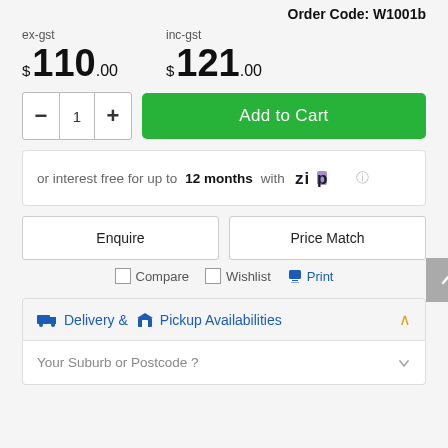Order Code: W1001b
ex-gst $110.00 inc-gst $121.00
[Figure (screenshot): Add to Cart button with quantity controls (minus, 1, plus) and green Add to Cart button]
or interest free for up to 12 months with Zip
Enquire | Price Match
Compare | Wishlist | Print
Delivery & Pickup Availabilities
Your Suburb or Postcode ?